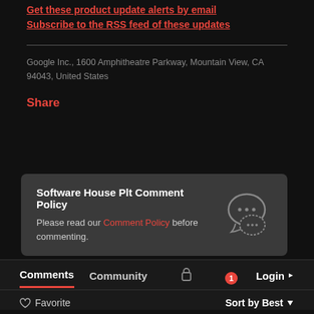Get these product update alerts by email
Subscribe to the RSS feed of these updates
Google Inc., 1600 Amphitheatre Parkway, Mountain View, CA 94043, United States
Share
Software House Plt Comment Policy
Please read our Comment Policy before commenting.
Comments  Community  🔒  1  Login ▾
♡ Favorite   Sort by Best ▾